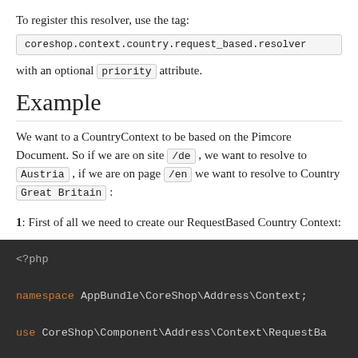To register this resolver, use the tag:
coreshop.context.country.request_based.resolver
with an optional priority attribute.
Example
We want to a CountryContext to be based on the Pimcore Document. So if we are on site /de , we want to resolve to Austria , if we are on page /en we want to resolve to Country Great Britain :
1: First of all we need to create our RequestBased Country Context:
[Figure (screenshot): PHP code block showing <?php opening tag, namespace declaration 'AppBundle\CoreShop\Address\Context;', and beginning of use statement 'CoreShop\Component\Address\Context\RequestBa...']